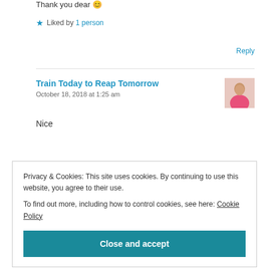Thank you dear 😊
★ Liked by 1 person
Reply
Train Today to Reap Tomorrow
October 18, 2018 at 1:25 am
[Figure (photo): Avatar photo of commenter wearing pink shirt]
Nice
Privacy & Cookies: This site uses cookies. By continuing to use this website, you agree to their use.
To find out more, including how to control cookies, see here: Cookie Policy
Close and accept